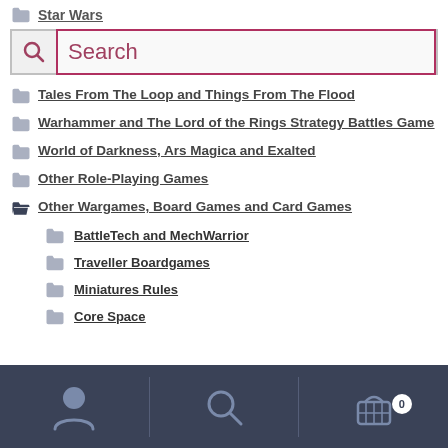Star Wars
[Figure (screenshot): Search bar with magnifying glass icon and pink/red outlined search input showing placeholder text 'Search']
Tales From The Loop and Things From The Flood
Warhammer and The Lord of the Rings Strategy Battles Game
World of Darkness, Ars Magica and Exalted
Other Role-Playing Games
Other Wargames, Board Games and Card Games
BattleTech and MechWarrior
Traveller Boardgames
Miniatures Rules
Core Space
[Figure (screenshot): Mobile app bottom navigation bar with dark blue background showing user/account icon, search icon, and shopping cart icon with badge showing 0]